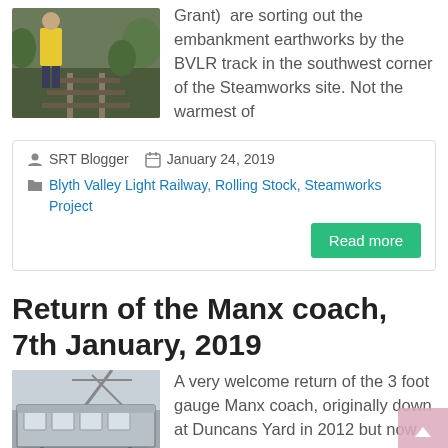Grant)  are sorting out the embankment earthworks by the BVLR track in the southwest corner of the Steamworks site. Not the warmest of
[Figure (photo): Photo of person in high-vis jacket standing near railway tracks outdoors]
SRT Blogger   January 24, 2019
Blyth Valley Light Railway, Rolling Stock, Steamworks Project
Read more
Return of the Manx coach, 7th January, 2019
[Figure (photo): Photo of a railway coach car]
A very welcome return of the 3 foot gauge Manx coach, originally down at Duncans Yard in 2012 but now